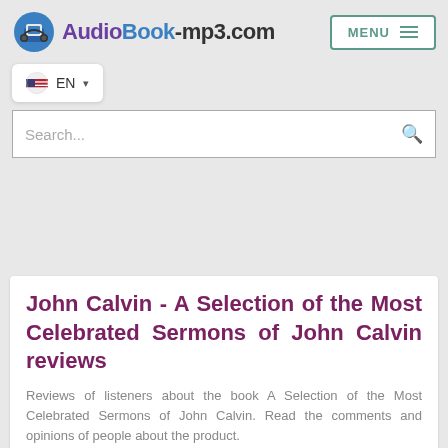[Figure (logo): AudioBook-mp3.com logo with headphones icon and stylized text]
[Figure (other): MENU button with hamburger icon lines, teal/green border]
[Figure (other): Language selector button showing US flag icon and EN with dropdown arrow]
[Figure (other): Search bar with placeholder text 'Search...' and magnifying glass icon]
John Calvin - A Selection of the Most Celebrated Sermons of John Calvin reviews
Reviews of listeners about the book A Selection of the Most Celebrated Sermons of John Calvin. Read the comments and opinions of people about the product.